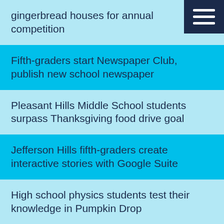gingerbread houses for annual competition
Fifth-graders start Newspaper Club, publish new school newspaper
Pleasant Hills Middle School students surpass Thanksgiving food drive goal
Jefferson Hills fifth-graders create interactive stories with Google Suite
High school physics students test their knowledge in Pumpkin Drop
Second-graders publish personal narratives
Gill Hall second-graders create pumpkin